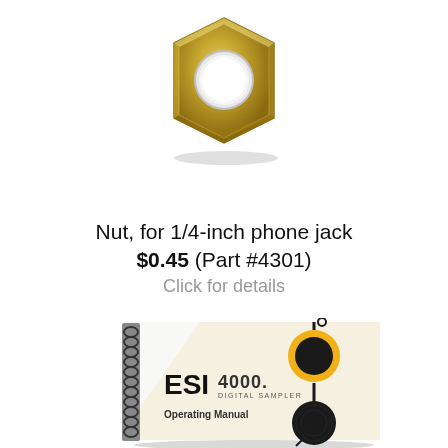[Figure (photo): A brass hexagonal nut for a 1/4-inch phone jack, shown from above on a white background.]
Nut, for 1/4-inch phone jack
$0.45 (Part #4301)
Click for details
[Figure (photo): An ESI 4000 Digital Sampler Operating Manual — a spiral-bound booklet with a cream/beige cover showing the ESI 4000 logo and a graphic of musical note/key symbols on orange and black circles.]